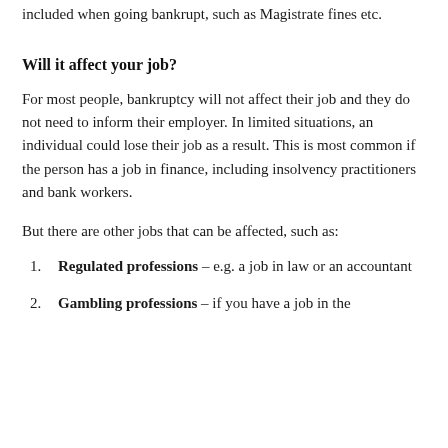included when going bankrupt, such as Magistrate fines etc.
Will it affect your job?
For most people, bankruptcy will not affect their job and they do not need to inform their employer. In limited situations, an individual could lose their job as a result. This is most common if the person has a job in finance, including insolvency practitioners and bank workers.
But there are other jobs that can be affected, such as:
Regulated professions – e.g. a job in law or an accountant
Gambling professions – if you have a job in the